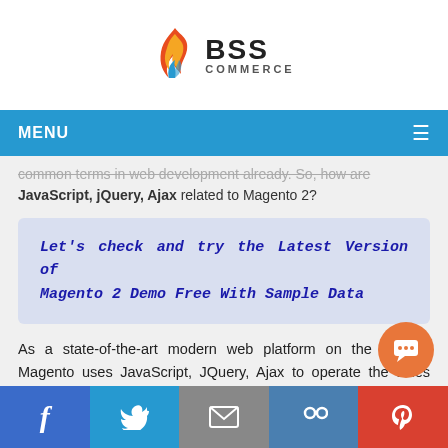[Figure (logo): BSS Commerce logo with flame icon and company name]
MENU
common terms in web development already. So, how are JavaScript, jQuery, Ajax related to Magento 2?
Let’s check and try the Latest Version of Magento 2 Demo Free With Sample Data
As a state-of-the-art modern web platform on the market, Magento uses JavaScript, JQuery, Ajax to operate the sales engine most smoothly and efficiently.
Facebook | Twitter | Email | Link | Pinterest